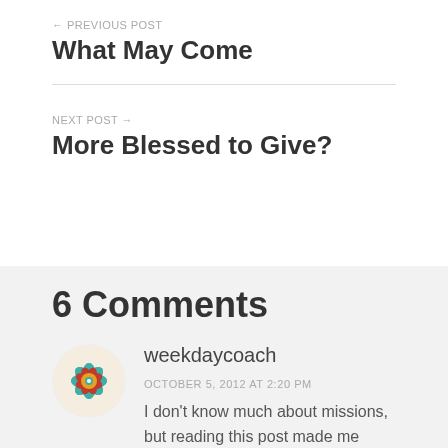← PREVIOUS POST
What May Come
NEXT POST →
More Blessed to Give?
6 Comments
weekdaycoach
OCTOBER 5, 2012 AT 2:20 PM
I don't know much about missions, but reading this post made me think about control. I can imagine those